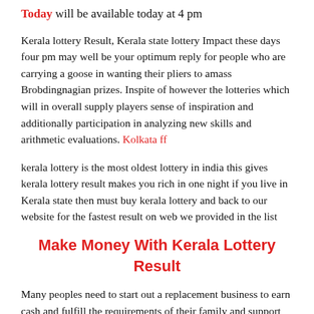Today will be available today at 4 pm
Kerala lottery Result, Kerala state lottery Impact these days four pm may well be your optimum reply for people who are carrying a goose in wanting their pliers to amass Brobdingnagian prizes. Inspite of however the lotteries which will in overall supply players sense of inspiration and additionally participation in analyzing new skills and arithmetic evaluations. Kolkata ff
kerala lottery is the most oldest lottery in india this gives kerala lottery result makes you rich in one night if you live in Kerala state then must buy kerala lottery and back to our website for the fastest result on web we provided in the list
Make Money With Kerala Lottery Result
Many peoples need to start out a replacement business to earn cash and fulfill the requirements of their family and support their family.But they don't savvy to take a position